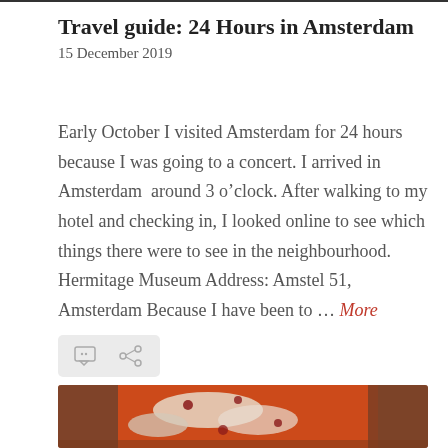Travel guide: 24 Hours in Amsterdam
15 December 2019
Early October I visited Amsterdam for 24 hours because I was going to a concert. I arrived in Amsterdam  around 3 o’clock. After walking to my hotel and checking in, I looked online to see which things there were to see in the neighbourhood. Hermitage Museum Address: Amstel 51, Amsterdam Because I have been to … More
[Figure (screenshot): Action bar with comment and share icons on a light grey background]
[Figure (photo): Close-up photo of a pizza with tomato sauce, cheese, and toppings]